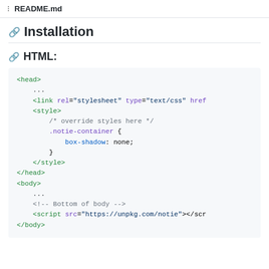README.md
Installation
HTML:
<head>
    ...
    <link rel="stylesheet" type="text/css" href
    <style>
        /* override styles here */
        .notie-container {
            box-shadow: none;
        }
    </style>
</head>
<body>
    ...
    <!-- Bottom of body -->
    <script src="https://unpkg.com/notie"></scr
</body>